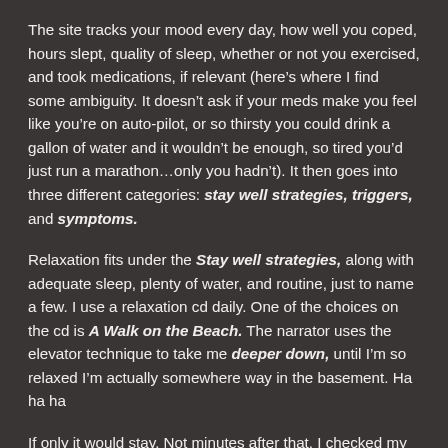The site tracks your mood every day, how well you coped, hours slept, quality of sleep, whether or not you exercised, and took medications, if relevant (here’s where I find some ambiguity. It doesn’t ask if your meds make you feel like you’re on auto-pilot, or so thirsty you could drink a gallon of water and it wouldn’t be enough, so tired you’d just run a marathon…only you hadn’t). It then goes into three different categories: stay well strategies, triggers, and symptoms.
Relaxation fits under the Stay well strategies, along with adequate sleep, plenty of water, and routine, just to name a few. I use a relaxation cd daily. One of the choices on the cd is A Walk on the Beach. The narrator uses the elevator technique to take me deeper down, until I’m so relaxed I’m actually somewhere way in the basement. Ha ha ha
If only it would stay. Not minutes after that, I checked my email, and there was something from an editor or promoter of a book I’ve signed up to read.